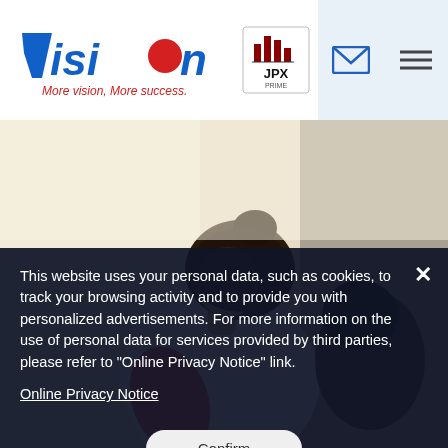[Figure (logo): Vision company logo with text 'More vision, More success.' and JPX Prime Market badge]
[Figure (photo): Photo of a person with dark hair in a bun wearing a white shirt with a red graphic, leaning over]
This website uses your personal data, such as cookies, to track your browsing activity and to provide you with personalized advertisements. For more information on the use of personal data for services provided by third parties, please refer to "Online Privacy Notice" link.
Online Privacy Notice
Confirm